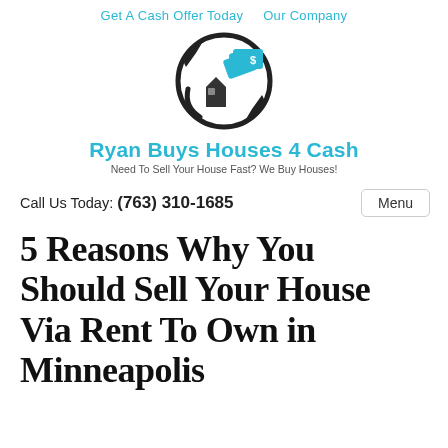Get A Cash Offer Today   Our Company
[Figure (logo): Ryan Buys Houses 4 Cash logo: circular arrow with house icon and cash bills in cyan/dark gray, brand name in cyan, tagline below]
Call Us Today: (763) 310-1685
5 Reasons Why You Should Sell Your House Via Rent To Own in Minneapolis